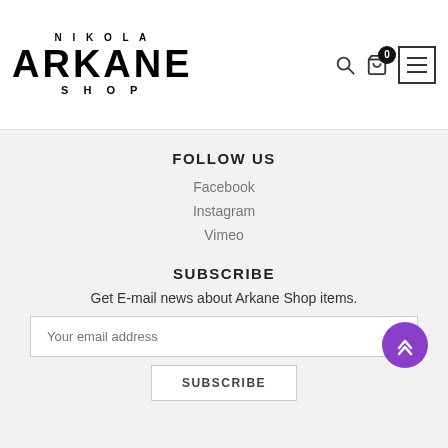NIKOLA ARKANE SHOP
FOLLOW US
Facebook
Instagram
Vimeo
SUBSCRIBE
Get E-mail news about Arkane Shop items.
Your email address
SUBSCRIBE